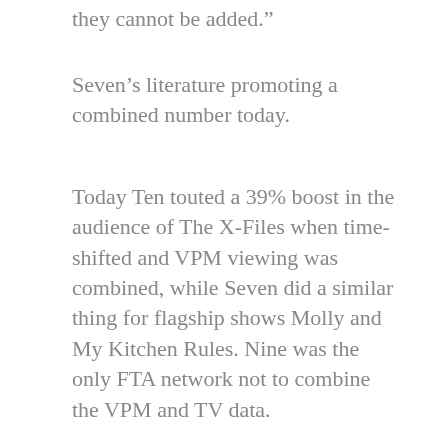they cannot be added.”
Seven’s literature promoting a combined number today.
Today Ten touted a 39% boost in the audience of The X-Files when time-shifted and VPM viewing was combined, while Seven did a similar thing for flagship shows Molly and My Kitchen Rules. Nine was the only FTA network not to combine the VPM and TV data.
OzTAM guidelines explain why there are a number of flaws in adding together VPM and TV audience data, not least that TV ratings measure people while the new VPM ratings measure only devices, and the fact that the VPM rating is a national figure with no adverts shown during the broadcasts counted in the